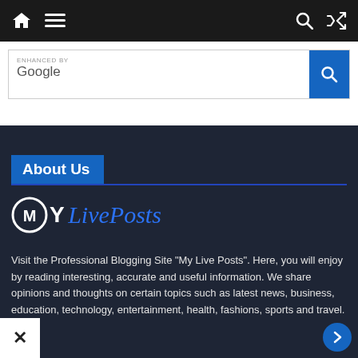Navigation bar with home, menu, search, and shuffle icons
[Figure (screenshot): Google Enhanced search bar with blue search button]
About Us
[Figure (logo): My Live Posts logo — circular M icon in white with 'MY' in white bold and 'Live Posts' in blue italic serif text]
Visit the Professional Blogging Site “My Live Posts”. Here, you will enjoy by reading interesting, accurate and useful information. We share opinions and thoughts on certain topics such as latest news, business, education, technology, entertainment, health, fashions, sports and travel.